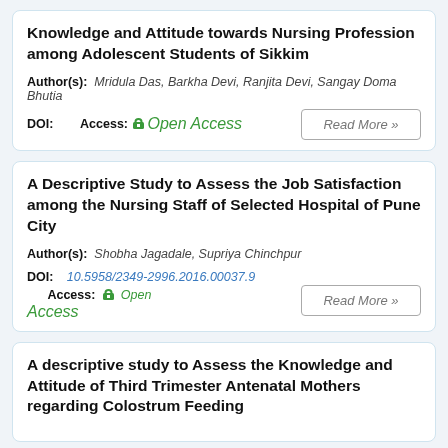Knowledge and Attitude towards Nursing Profession among Adolescent Students of Sikkim
Author(s): Mridula Das, Barkha Devi, Ranjita Devi, Sangay Doma Bhutia
DOI: Access: Open Access  Read More »
A Descriptive Study to Assess the Job Satisfaction among the Nursing Staff of Selected Hospital of Pune City
Author(s): Shobha Jagadale, Supriya Chinchpur
DOI: 10.5958/2349-2996.2016.00037.9  Access: Open Access  Read More »
A descriptive study to Assess the Knowledge and Attitude of Third Trimester Antenatal Mothers regarding Colostrum Feeding